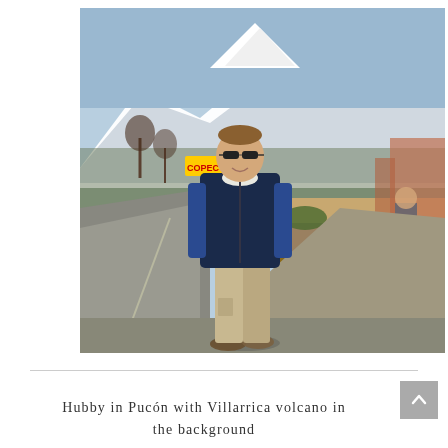[Figure (photo): A man wearing sunglasses, a navy fleece vest over a blue long-sleeve shirt, and khaki cargo pants stands on a sidewalk/street in Pucón, Chile. Wooden fence/planter boxes are to his right. Behind him is a street with cars, buildings, a sign, bare trees, and a large snow-capped volcano (Villarrica) visible in the background against a blue sky.]
Hubby in Pucón with Villarrica volcano in the background